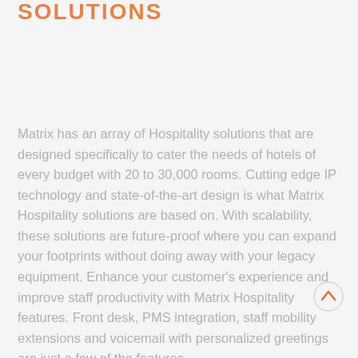SOLUTIONS
Matrix has an array of Hospitality solutions that are designed specifically to cater the needs of hotels of every budget with 20 to 30,000 rooms. Cutting edge IP technology and state-of-the-art design is what Matrix Hospitality solutions are based on. With scalability, these solutions are future-proof where you can expand your footprints without doing away with your legacy equipment. Enhance your customer's experience and improve staff productivity with Matrix Hospitality features. Front desk, PMS integration, staff mobility extensions and voicemail with personalized greetings are just a few of the features.